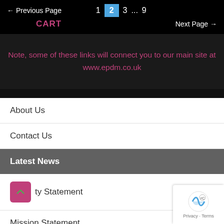← Previous Page   1  2  3  ...  9   CART   Next Page →
Note, some of these links will connect you to our main site at www.epdm.co.uk
About Us
Contact Us
Latest News
ty Statement
Mission Statement